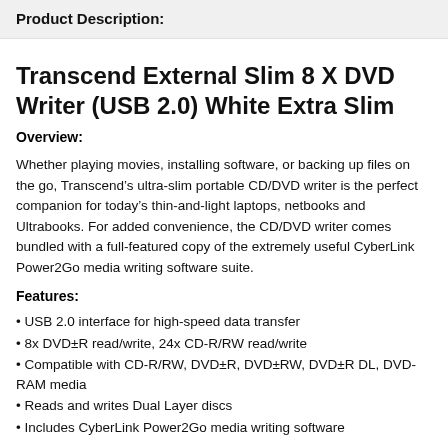Product Description:
Transcend External Slim 8 X DVD Writer (USB 2.0) White Extra Slim
Overview:
Whether playing movies, installing software, or backing up files on the go, Transcend’s ultra-slim portable CD/DVD writer is the perfect companion for today’s thin-and-light laptops, netbooks and Ultrabooks. For added convenience, the CD/DVD writer comes bundled with a full-featured copy of the extremely useful CyberLink Power2Go media writing software suite.
Features:
USB 2.0 interface for high-speed data transfer
8x DVD±R read/write, 24x CD-R/RW read/write
Compatible with CD-R/RW, DVD±R, DVD±RW, DVD±R DL, DVD-RAM media
Reads and writes Dual Layer discs
Includes CyberLink Power2Go media writing software